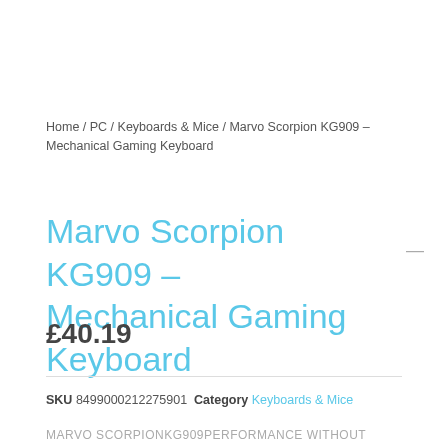Home / PC / Keyboards & Mice / Marvo Scorpion KG909 – Mechanical Gaming Keyboard
Marvo Scorpion KG909 – Mechanical Gaming Keyboard
£40.19
SKU 8499000212275901 Category Keyboards & Mice
MARVO SCORPIONKG909PERFORMANCE WITHOUT